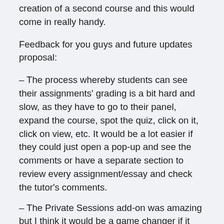creation of a second course and this would come in really handy.
Feedback for you guys and future updates proposal:
– The process whereby students can see their assignments' grading is a bit hard and slow, as they have to go to their panel, expand the course, spot the quiz, click on it, click on view, etc. It would be a lot easier if they could just open a pop-up and see the comments or have a separate section to review every assignment/essay and check the tutor's comments.
– The Private Sessions add-on was amazing but I think it would be a game changer if it allowed student to teacher communication and not only teacher to